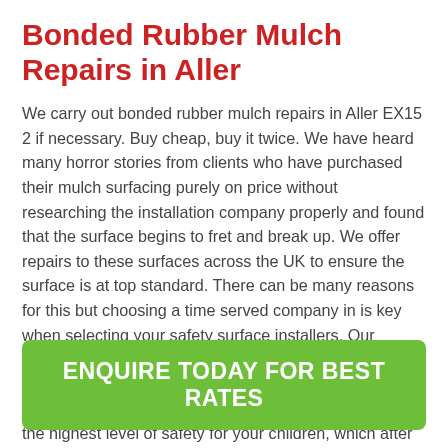Bonded Rubber Mulch Repairs in Aller
We carry out bonded rubber mulch repairs in Aller EX15 2 if necessary. Buy cheap, buy it twice. We have heard many horror stories from clients who have purchased their mulch surfacing purely on price without researching the installation company properly and found that the surface begins to fret and break up. We offer repairs to these surfaces across the UK to ensure the surface is at top standard. There can be many reasons for this but choosing a time served company in is key when selecting your safety surface installers. Our premium resin bonded rubberised shred has a fantastic life span and will give better long to medium returns compared to cheaper alternatives as well as maintaining the highest level of safety for your children, which after all is a major reason to use our rubber safety surfacing.
ENQUIRE TODAY FOR BEST RATES